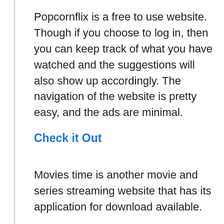Popcornflix is a free to use website. Though if you choose to log in, then you can keep track of what you have watched and the suggestions will also show up accordingly. The navigation of the website is pretty easy, and the ads are minimal.
Check it Out
Movies time is another movie and series streaming website that has its application for download available.
The website is great, but if you download the application, then you